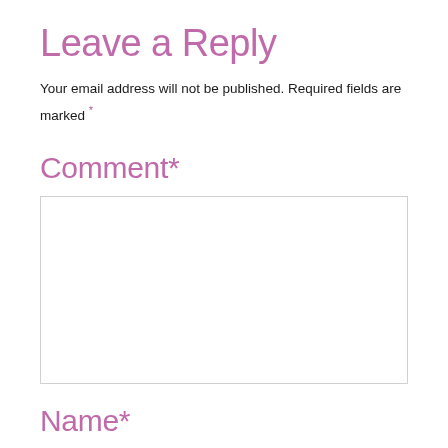Leave a Reply
Your email address will not be published. Required fields are marked *
Comment*
[Figure (other): Empty comment text area input box with light gray border]
Name*